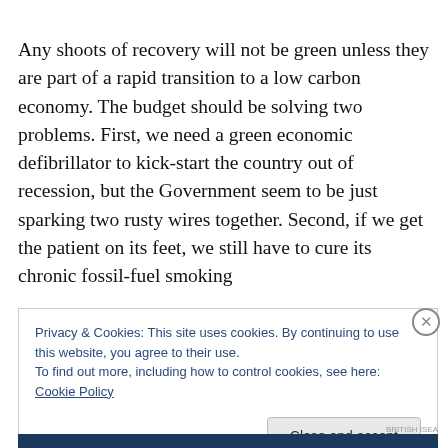Any shoots of recovery will not be green unless they are part of a rapid transition to a low carbon economy. The budget should be solving two problems. First, we need a green economic defibrillator to kick-start the country out of recession, but the Government seem to be just sparking two rusty wires together. Second, if we get the patient on its feet, we still have to cure its chronic fossil-fuel smoking
Privacy & Cookies: This site uses cookies. By continuing to use this website, you agree to their use.
To find out more, including how to control cookies, see here: Cookie Policy
Close and accept